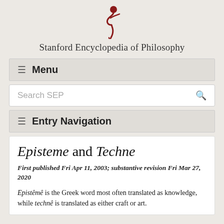[Figure (logo): Stanford Encyclopedia of Philosophy logo — stylized red figure]
Stanford Encyclopedia of Philosophy
≡  Menu
Search SEP
≡  Entry Navigation
Episteme and Techne
First published Fri Apr 11, 2003; substantive revision Fri Mar 27, 2020
Epistêmê is the Greek word most often translated as knowledge, while technê is translated as either craft or art.